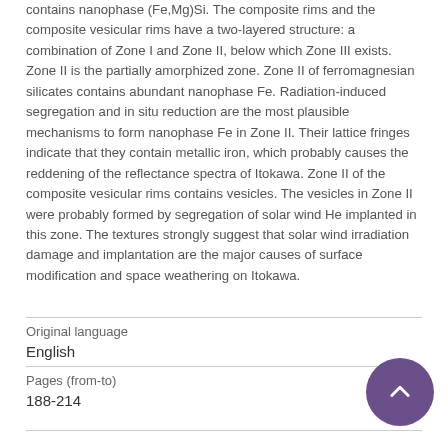contains nanophase (Fe,Mg)Si. The composite rims and the composite vesicular rims have a two-layered structure: a combination of Zone I and Zone II, below which Zone III exists. Zone II is the partially amorphized zone. Zone II of ferromagnesian silicates contains abundant nanophase Fe. Radiation-induced segregation and in situ reduction are the most plausible mechanisms to form nanophase Fe in Zone II. Their lattice fringes indicate that they contain metallic iron, which probably causes the reddening of the reflectance spectra of Itokawa. Zone II of the composite vesicular rims contains vesicles. The vesicles in Zone II were probably formed by segregation of solar wind He implanted in this zone. The textures strongly suggest that solar wind irradiation damage and implantation are the major causes of surface modification and space weathering on Itokawa.
| Original language | Pages (from-to) |
| --- | --- |
| English | 188-214 |